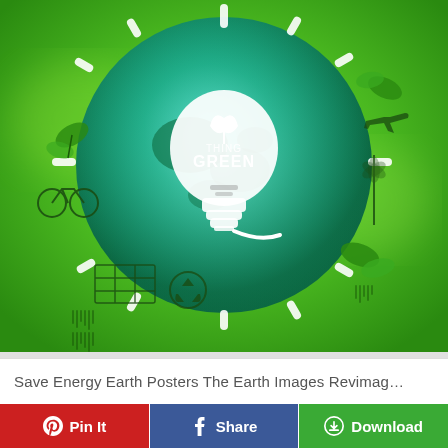[Figure (illustration): Green energy environmental poster showing a glowing light bulb with 'THING GREEN' text and a leaf icon, set against a teal globe surrounded by eco icons (bicycle, wind turbine, airplane, leaves, solar panels, recycling) on a bright green gradient background.]
Save Energy Earth Posters The Earth Images Revimag…
Pin It
Share
Download